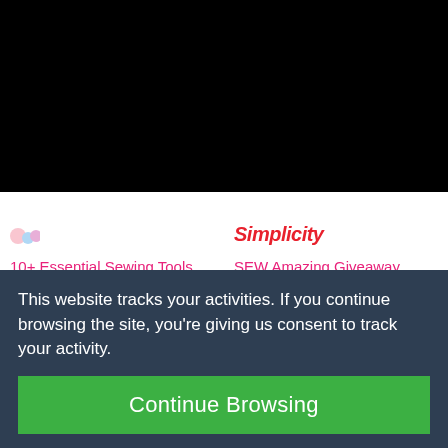[Figure (photo): Black area at top of page, partially visible website content]
[Figure (illustration): Small sewing tools icons visible at bottom of black area on left side]
[Figure (logo): Simplicity brand logo in red italic text on right side]
10+ Essential Sewing Tools You Should Own
SEW Amazing Giveaway (Over $1000 in Sewing Goodies!!)
This website tracks your activities. If you continue browsing the site, you're giving us consent to track your activity.
Continue Browsing